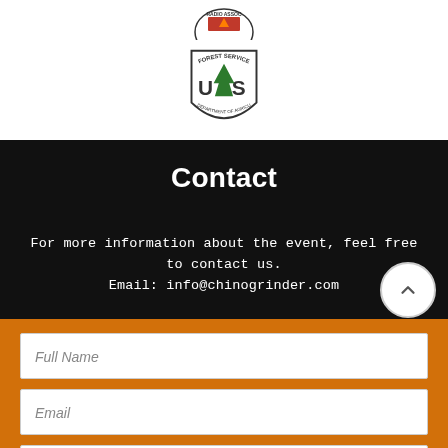[Figure (logo): Partial circular radio association logo at top]
[Figure (logo): US Forest Service shield logo with tree, text FOREST SERVICE, US, DEPARTMENT OF AGRICULTURE]
Contact
For more information about the event, feel free to contact us.
Email: info@chinogrinder.com
[Figure (screenshot): Contact form with fields: Full Name, Email, Type your message here... and a scroll-up button]